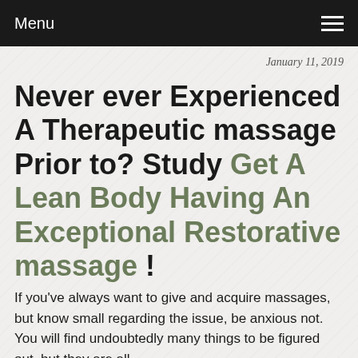Menu
January 11, 2019
Never ever Experienced A Therapeutic massage Prior to? Study Get A Lean Body Having An Exceptional Restorative massage !
If you've always want to give and acquire massages, but know small regarding the issue, be anxious not. You will find undoubtedly many things to be figured out, but they are all